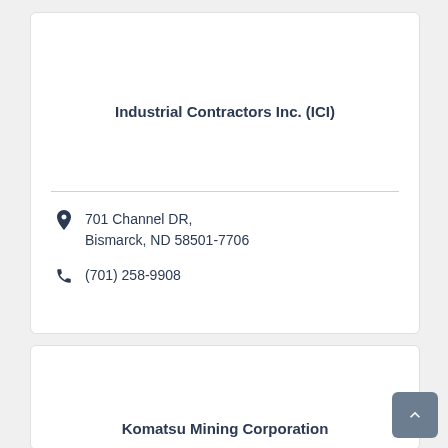Industrial Contractors Inc. (ICI)
701 Channel DR, Bismarck, ND 58501-7706
(701) 258-9908
Komatsu Mining Corporation